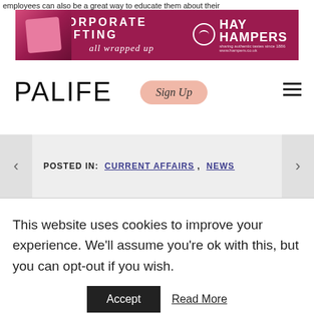employees can also be a great way to educate them about their
[Figure (photo): Corporate Gifting banner advertisement for Hay Hampers showing pink gift boxes on magenta background with text: CORPORATE GIFTING all wrapped up, HAY HAMPERS]
[Figure (logo): PALIFE logo in large thin sans-serif font]
[Figure (infographic): Sign Up button in pink/salmon rounded rectangle with cursive text]
[Figure (infographic): Hamburger menu icon (three horizontal lines)]
POSTED IN: CURRENT AFFAIRS , NEWS
This website uses cookies to improve your experience. We'll assume you're ok with this, but you can opt-out if you wish.
Accept
Read More